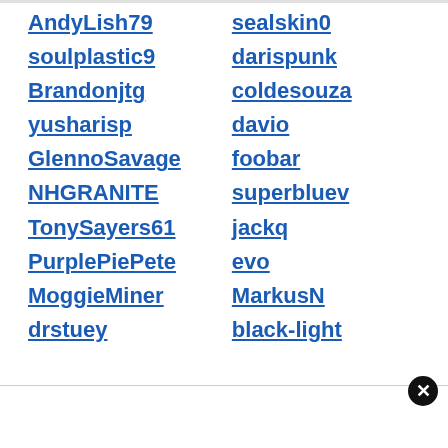AndyLish79
sealskin0
soulplastic9
darispunk
Brandonjtg
coldesouza
yusharisp
davio
GlennoSavage
foobar
NHGRANITE
superbluev
TonySayers61
jackq
PurplePiePete
evo
MoggieMiner
MarkusN
drstuey
black-light